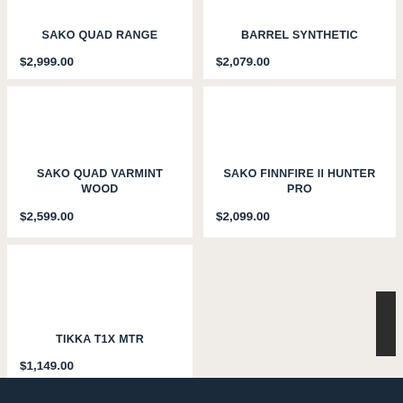SAKO QUAD RANGE
$2,999.00
BARREL SYNTHETIC
$2,079.00
SAKO QUAD VARMINT WOOD
$2,599.00
SAKO FINNFIRE II HUNTER PRO
$2,099.00
TIKKA T1X MTR
$1,149.00